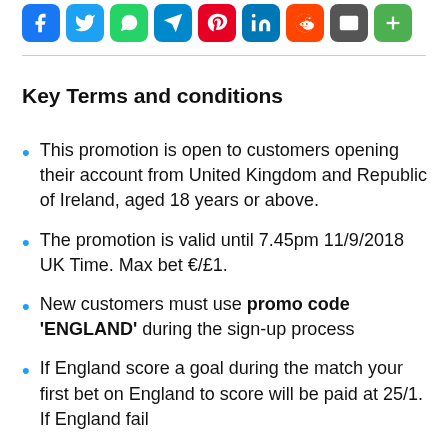[Figure (other): Row of social media sharing icon buttons: Facebook, Twitter, WhatsApp, Telegram, Pinterest, LinkedIn, Reddit, Email, Plus/Share]
Key Terms and conditions
This promotion is open to customers opening their account from United Kingdom and Republic of Ireland, aged 18 years or above.
The promotion is valid until 7.45pm 11/9/2018 UK Time. Max bet €/£1.
New customers must use promo code 'ENGLAND' during the sign-up process
If England score a goal during the match your first bet on England to score will be paid at 25/1. If England fail to score, your stake will be refunded.